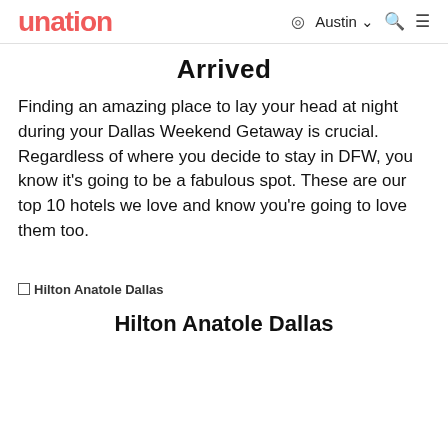unation | Austin | search | menu
Arrived
Finding an amazing place to lay your head at night during your Dallas Weekend Getaway is crucial. Regardless of where you decide to stay in DFW, you know it's going to be a fabulous spot. These are our top 10 hotels we love and know you're going to love them too.
□ Hilton Anatole Dallas
Hilton Anatole Dallas